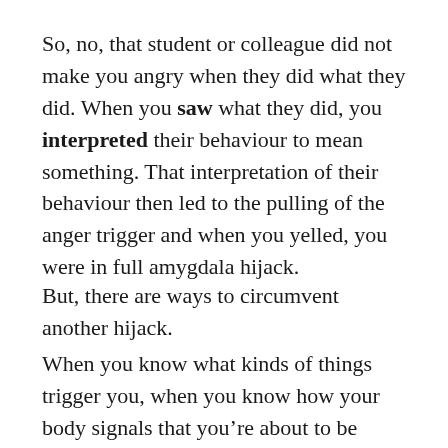So, no, that student or colleague did not make you angry when they did what they did. When you saw what they did, you interpreted their behaviour to mean something. That interpretation of their behaviour then led to the pulling of the anger trigger and when you yelled, you were in full amygdala hijack.
But, there are ways to circumvent another hijack.
When you know what kinds of things trigger you, when you know how your body signals that you're about to be hijacked, you can take a deep breath or two.  When you are first